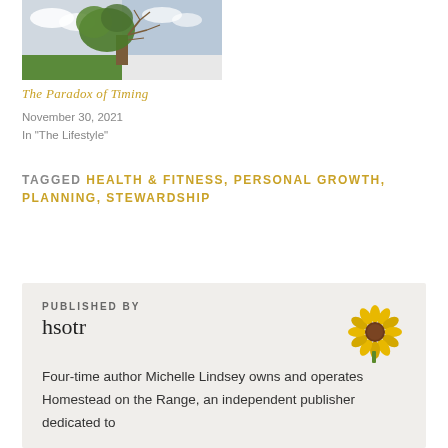[Figure (photo): A tree showing two seasons split down the middle — green leaves on one side and bare branches on the other, with clouds in the background]
The Paradox of Timing
November 30, 2021
In "The Lifestyle"
TAGGED HEALTH & FITNESS, PERSONAL GROWTH, PLANNING, STEWARDSHIP
PUBLISHED BY
hsotr
[Figure (photo): A sunflower illustration/photo]
Four-time author Michelle Lindsey owns and operates Homestead on the Range, an independent publisher dedicated to